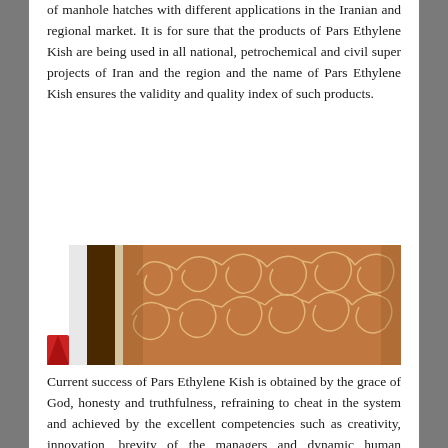of manhole hatches with different applications in the Iranian and regional market. It is for sure that the products of Pars Ethylene Kish are being used in all national, petrochemical and civil super projects of Iran and the region and the name of Pars Ethylene Kish ensures the validity and quality index of such products.
[Figure (photo): A decorative image showing a brown/copper background with ornate swirling floral patterns in lighter tones, alongside a wooden panel and a partial view of a door or column.]
Current success of Pars Ethylene Kish is obtained by the grace of God, honesty and truthfulness, refraining to cheat in the system and achieved by the excellent competencies such as creativity, innovation, brevity of the managers and dynamic human resources. The managers of Pars Ethylene Kish have embedded into the company the spirit of